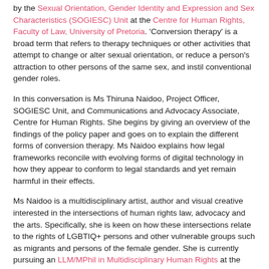by the Sexual Orientation, Gender Identity and Expression and Sex Characteristics (SOGIESC) Unit at the Centre for Human Rights, Faculty of Law, University of Pretoria. 'Conversion therapy' is a broad term that refers to therapy techniques or other activities that attempt to change or alter sexual orientation, or reduce a person's attraction to other persons of the same sex, and instil conventional gender roles.
In this conversation is Ms Thiruna Naidoo, Project Officer, SOGIESC Unit, and Communications and Advocacy Associate, Centre for Human Rights. She begins by giving an overview of the findings of the policy paper and goes on to explain the different forms of conversion therapy. Ms Naidoo explains how legal frameworks reconcile with evolving forms of digital technology in how they appear to conform to legal standards and yet remain harmful in their effects.
Ms Naidoo is a multidisciplinary artist, author and visual creative interested in the intersections of human rights law, advocacy and the arts. Specifically, she is keen on how these intersections relate to the rights of LGBTIQ+ persons and other vulnerable groups such as migrants and persons of the female gender. She is currently pursuing an LLM/MPhil in Multidisciplinary Human Rights at the Centre.
In her work surrounding LGBTIQ+ rights, she has contributed to 'A Guide for African National Human Rights Institutions for Implementing Resolution 275 in Africa'. She participated in the drafting and advocacy work to further the UP Trans Protocol which was recently adopted at her institution. She